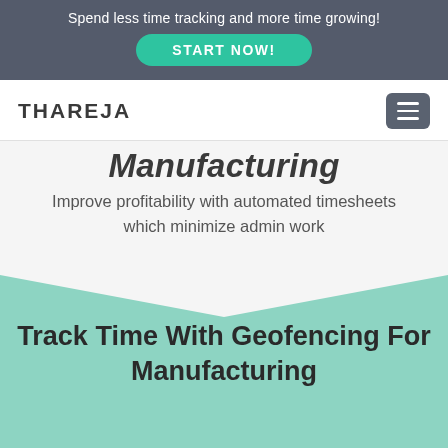Spend less time tracking and more time growing!
START NOW!
THAREJA
Manufacturing
Improve profitability with automated timesheets which minimize admin work
Track Time With Geofencing For Manufacturing